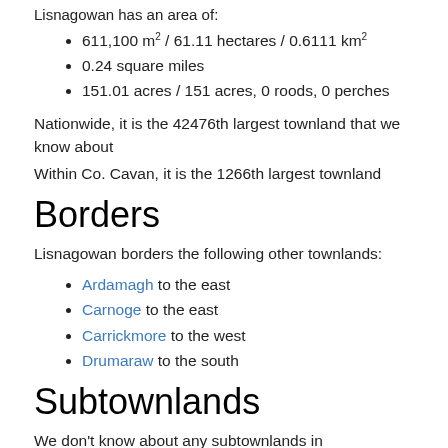Lisnagowan has an area of:
611,100 m² / 61.11 hectares / 0.6111 km²
0.24 square miles
151.01 acres / 151 acres, 0 roods, 0 perches
Nationwide, it is the 42476th largest townland that we know about
Within Co. Cavan, it is the 1266th largest townland
Borders
Lisnagowan borders the following other townlands:
Ardamagh to the east
Carnoge to the east
Carrickmore to the west
Drumaraw to the south
Subtownlands
We don't know about any subtownlands in Lisnagowan.
Genealogy / Ancestry /